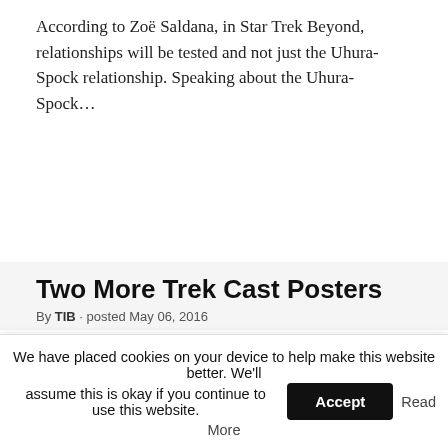According to Zoë Saldana, in Star Trek Beyond, relationships will be tested and not just the Uhura-Spock relationship. Speaking about the Uhura-Spock...
Two More Trek Cast Posters
By TIB · posted May 06, 2016
We have placed cookies on your device to help make this website better. We'll assume this is okay if you continue to use this website. Accept Read More